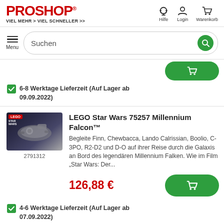[Figure (logo): Proshop logo in red with tagline VIEL MEHR > VIEL SCHNELLER >>]
[Figure (screenshot): Header icons: Hilfe (headset), Login (person), Warenkorb (cart)]
[Figure (screenshot): Navigation bar with hamburger Menu button and Suchen search bar with green search button]
[Figure (screenshot): Partial green add-to-cart button visible at top]
6-8 Werktage Lieferzeit (Auf Lager ab 09.09.2022)
[Figure (photo): LEGO Star Wars 75257 Millennium Falcon box art photo]
2791312
LEGO Star Wars 75257 Millennium Falcon™
Begleite Finn, Chewbacca, Lando Calrissian, Boolio, C-3PO, R2-D2 und D-O auf ihrer Reise durch die Galaxis an Bord des legendären Millennium Falken. Wie im Film „Star Wars: Der...
126,88 €
4-6 Werktage Lieferzeit (Auf Lager ab 07.09.2022)